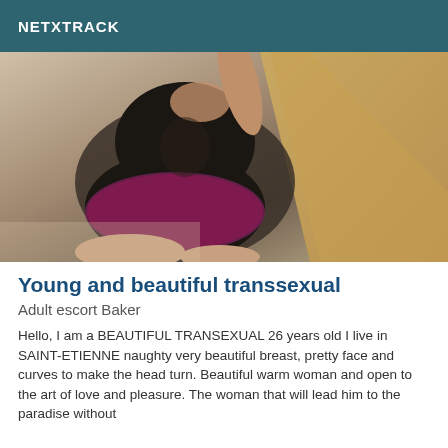NETXTRACK
[Figure (photo): A person in a black bodysuit and purple lace shorts taking a mirror selfie, shot from behind, showing their figure against a wooden surface.]
Young and beautiful transsexual
Adult escort Baker
Hello, I am a BEAUTIFUL TRANSEXUAL 26 years old I live in SAINT-ETIENNE naughty very beautiful breast, pretty face and curves to make the head turn. Beautiful warm woman and open to the art of love and pleasure. The woman that will lead him to the paradise without